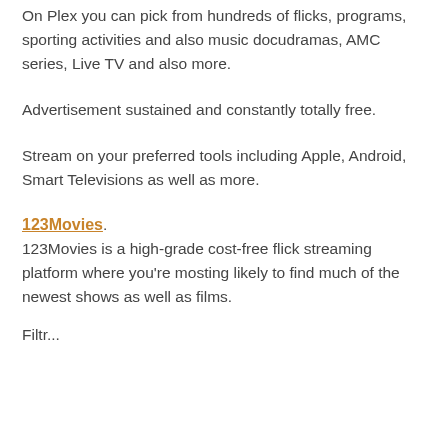On Plex you can pick from hundreds of flicks, programs, sporting activities and also music docudramas, AMC series, Live TV and also more.
Advertisement sustained and constantly totally free.
Stream on your preferred tools including Apple, Android, Smart Televisions as well as more.
123Movies.
123Movies is a high-grade cost-free flick streaming platform where you're mosting likely to find much of the newest shows as well as films.
Filtr...